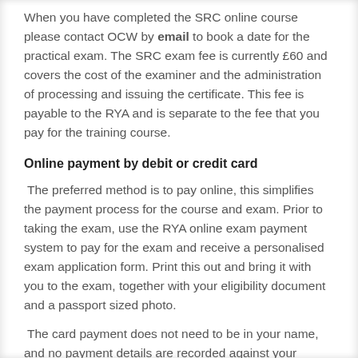When you have completed the SRC online course please contact OCW by email to book a date for the practical exam. The SRC exam fee is currently £60 and covers the cost of the examiner and the administration of processing and issuing the certificate. This fee is payable to the RYA and is separate to the fee that you pay for the training course.
Online payment by debit or credit card
The preferred method is to pay online, this simplifies the payment process for the course and exam. Prior to taking the exam, use the RYA online exam payment system to pay for the exam and receive a personalised exam application form. Print this out and bring it with you to the exam, together with your eligibility document and a passport sized photo.
The card payment does not need to be in your name, and no payment details are recorded against your account.